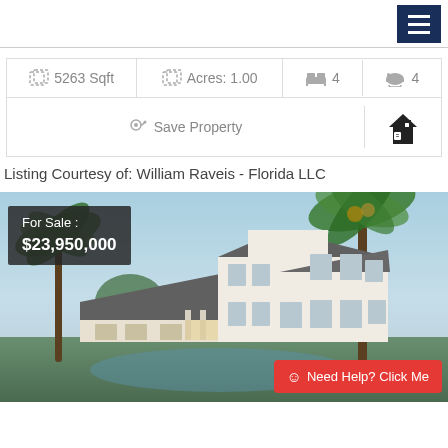[Figure (infographic): Dark navy hamburger menu button (three white horizontal lines) in top right corner]
| 5263 Sqft | Acres: 1.00 | 4 (beds) | 4 (baths) |
| Save Property | (home icon) |
Listing Courtesy of: William Raveis - Florida LLC
[Figure (photo): Luxury home for sale at $23,950,000 — large white two-story house with dark roof, palm trees, and a pool area. Overlay badge shows For Sale: $23,950,000. Need Help? Click Me button in bottom right.]